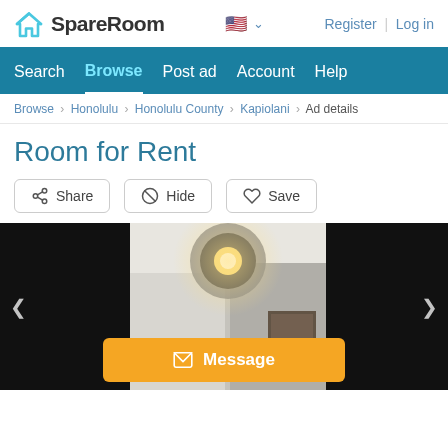SpareRoom — Register | Log in
Search | Browse | Post ad | Account | Help
Browse › Honolulu › Honolulu County › Kapiolani › Ad details
Room for Rent
Share
Hide
Save
[Figure (photo): Interior room photo showing ceiling with recessed spotlight and white walls, with a framed artwork partially visible]
Message